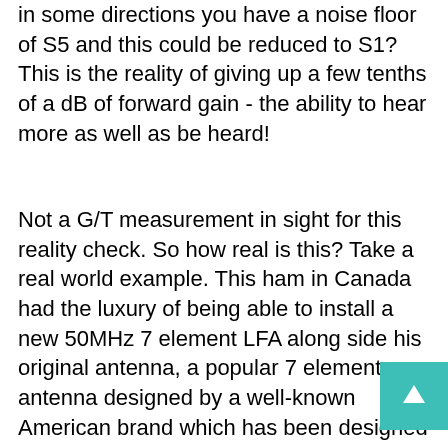in some directions you have a noise floor of S5 and this could be reduced to S1? This is the reality of giving up a few tenths of a dB of forward gain - the ability to hear more as well as be heard!
Not a G/T measurement in sight for this reality check. So how real is this? Take a real world example. This ham in Canada had the luxury of being able to install a new 50MHz 7 element LFA along side his original antenna, a popular 7 element antenna designed by a well-known American brand which has been designed using the 'gain, gain, gain' concept. Note that no just is the noise floor a lot lower on the LFA Yagi, this received signals are comparable which means they are far better received on the LFA. In some instances, the signals are beaering heard on the traditional style but Q5 on the LFA.